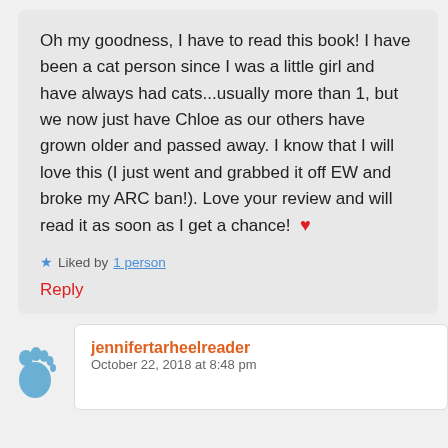Oh my goodness, I have to read this book! I have been a cat person since I was a little girl and have always had cats...usually more than 1, but we now just have Chloe as our others have grown older and passed away. I know that I will love this (I just went and grabbed it off EW and broke my ARC ban!). Love your review and will read it as soon as I get a chance! ❤
★ Liked by 1 person
Reply
[Figure (illustration): Blue baby footprint icon avatar]
jennifertarheelreader
October 22, 2018 at 8:48 pm